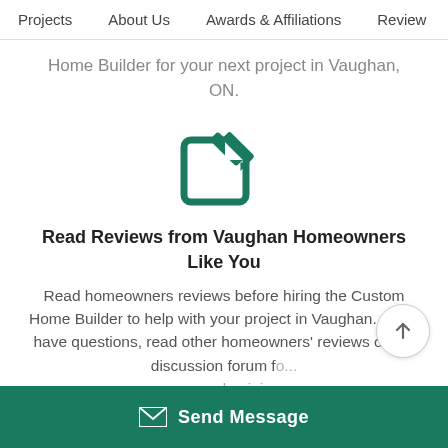Projects | About Us | Awards & Affiliations | Review
Home Builder for your next project in Vaughan, ON.
[Figure (illustration): Green square edit/review icon — a square outline with a pencil overlaid in the top-right corner, in teal/dark green color]
Read Reviews from Vaughan Homeowners Like You
Read homeowners reviews before hiring the Custom Home Builder to help with your project in Vaughan. If you have questions, read other homeowners' reviews or our discussion forum fo... a second opinion.
Send Message